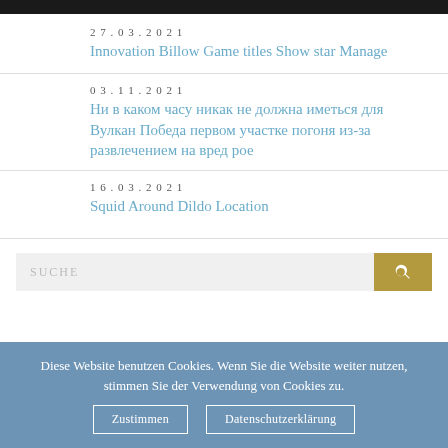27.03.2021 — Innovation Billow Game titles Show star Manage
03.11.2021 — Ни в каком часу никак не должна иметься для Вулкан Победа первом участке погоня из-за развлечением на вред рое
16.03.2021 — Squid Around Dildo Location
SUCHE
Diese Website benutzen Cookies. Wenn Sie die Website weiter nutzen, stimmen Sie der Verwendung von Cookies zu.
Zustimmen | Datenschutzerklärung